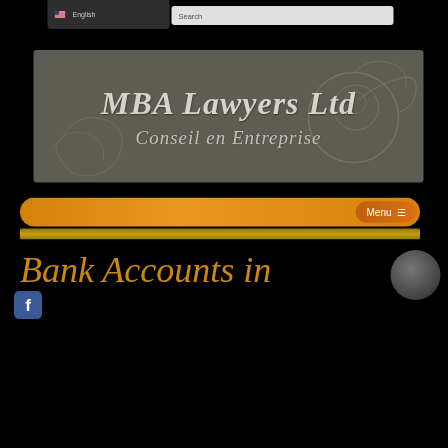English  Search
[Figure (logo): MBA Lawyers Ltd logo banner with decorative swirl pattern on grey-brown background. Text reads: MBA Lawyers Ltd (bold italic) and Conseil en Entreprise (italic subtitle).]
MBA Lawyers Ltd
Conseil en Entreprise
[Figure (screenshot): Orange navigation bar with Menu button on right side, and a decorative gold strip below it.]
Bank Accounts in